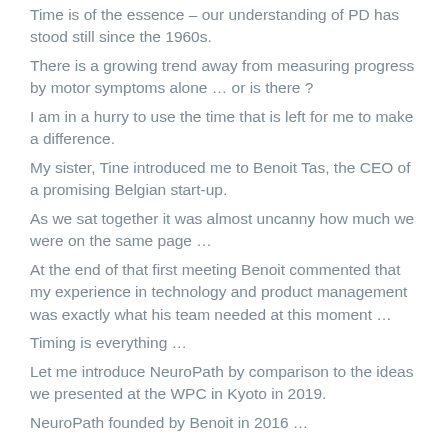Time is of the essence – our understanding of PD has stood still since the 1960s.
There is a growing trend away from measuring progress by motor symptoms alone … or is there ?
I am in a hurry to use the time that is left for me to make a difference.
My sister, Tine introduced me to Benoit Tas, the CEO of a promising Belgian start-up.
As we sat together it was almost uncanny how much we were on the same page …
At the end of that first meeting Benoit commented that my experience in technology and product management was exactly what his team needed at this moment …
Timing is everything …
Let me introduce NeuroPath by comparison to the ideas we presented at the WPC in Kyoto in 2019.
NeuroPath founded by Benoit in 2016 …